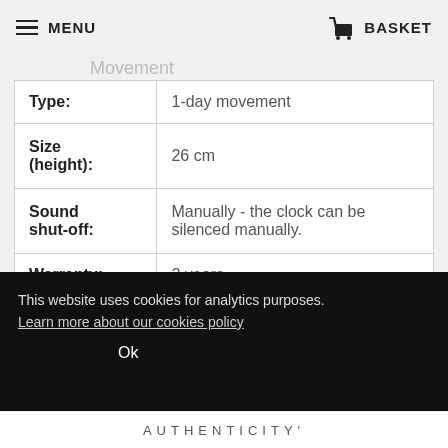MENU   BASKET
Movement
|  |  |
| --- | --- |
| Type: | 1-day movement |
| Size (height): | 26 cm |
| Sound shut-off: | Manually - the clock can be silenced manually. |
| Warranty: | 2 years |
This website uses cookies for analytics purposes. Learn more about our cookies policy
Ok
AUTHENTICITY'